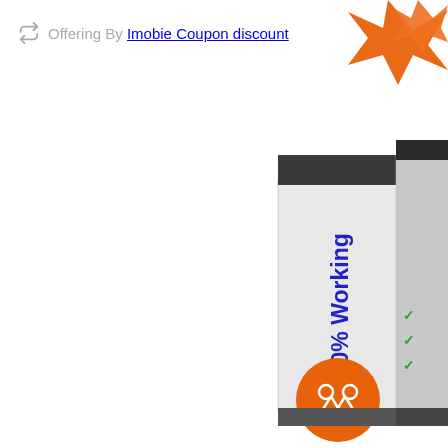Offering By Imobie Coupon discount
[Figure (illustration): A 3D box/package illustration showing '100% Working' text in blue on the side, with orange ribbon/banner decorations and an orange circle with scissors icon at the bottom right. The box appears to be a coupon or discount product image, partially cropped at the right edge of the page.]